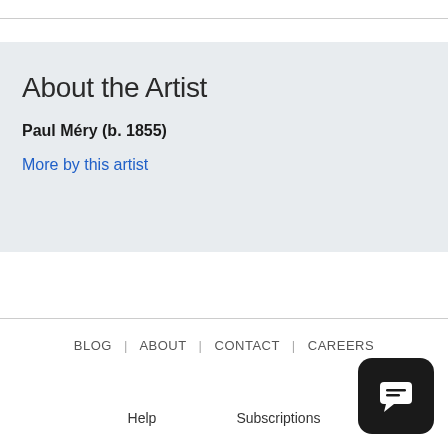About the Artist
Paul Méry (b. 1855)
More by this artist
BLOG | ABOUT | CONTACT | CAREERS
Help   Subscriptions